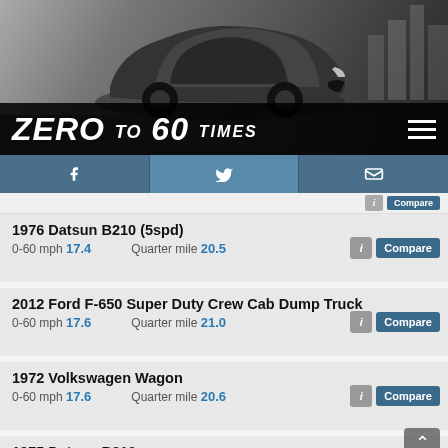[Figure (photo): Hyundai sports car (Veloster) in black and white driving through a city, used as header background]
ZERO TO 60 TIMES
[Figure (infographic): Social media bar with Facebook, Twitter, and email icons]
1976 Datsun B210 (5spd)
0-60 mph 17.4  Quarter mile 20.5
2012 Ford F-650 Super Duty Crew Cab Dump Truck
0-60 mph 17.6  Quarter mile 21.0
1972 Volkswagen Wagon
0-60 mph 17.6  Quarter mile 20.6
1975 Datsun B210
0-60 mph 17.6  Quarter mile 20.4
1974 Mercury Comet LDO
0-60 mph 17.6